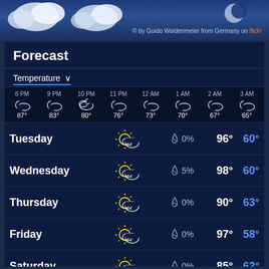[Figure (photo): Blue sky background with clouds, partial view at top of page]
© by Guido Waldenmeier from Germany on flickr
Forecast
Temperature ▾
| Time | Icon | Temp |
| --- | --- | --- |
| 8 PM | partly cloudy night | 87° |
| 9 PM | partly cloudy night | 83° |
| 10 PM | cloudy night | 80° |
| 11 PM | partly cloudy night | 76° |
| 12 AM | partly cloudy night | 73° |
| 1 AM | partly cloudy night | 70° |
| 2 AM | partly cloudy night | 67° |
| 3 AM | partly cloudy night | 65° |
| Day | Icon | Precip | High | Low |
| --- | --- | --- | --- | --- |
| Tuesday | partly cloudy sunny | 0% | 96° | 60° |
| Wednesday | partly cloudy sunny | 5% | 98° | 60° |
| Thursday | partly cloudy sunny | 0% | 90° | 63° |
| Friday | partly cloudy sunny | 0% | 97° | 58° |
| Saturday | partly cloudy sunny | 0% | 85° | 62° |
| Sunday | sunny | 0% | 89° | 58° |
| Monday | partly cloudy sunny | 0% | 80° | 58° |